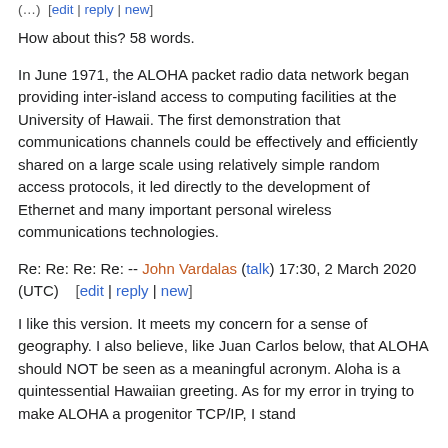(…) [edit | reply | new]
How about this? 58 words.
In June 1971, the ALOHA packet radio data network began providing inter-island access to computing facilities at the University of Hawaii. The first demonstration that communications channels could be effectively and efficiently shared on a large scale using relatively simple random access protocols, it led directly to the development of Ethernet and many important personal wireless communications technologies.
Re: Re: Re: Re: -- John Vardalas (talk) 17:30, 2 March 2020 (UTC)    [edit | reply | new]
I like this version. It meets my concern for a sense of geography. I also believe, like Juan Carlos below, that ALOHA should NOT be seen as a meaningful acronym. Aloha is a quintessential Hawaiian greeting. As for my error in trying to make ALOHA a progenitor TCP/IP, I stand corrected. I had an incorrect recollection. It does not...